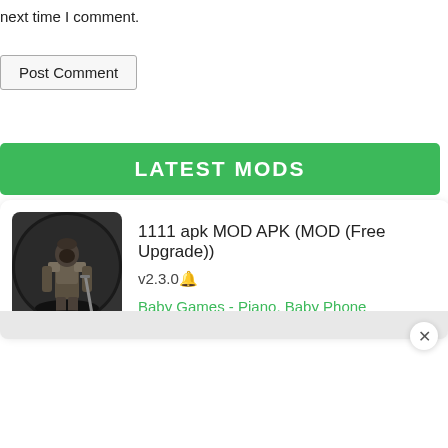next time I comment.
Post Comment
LATEST MODS
[Figure (illustration): Game character icon — armored warrior figure in circular dark background]
1111 apk MOD APK (MOD (Free Upgrade))
v2.3.0🔔
Baby Games - Piano, Baby Phone